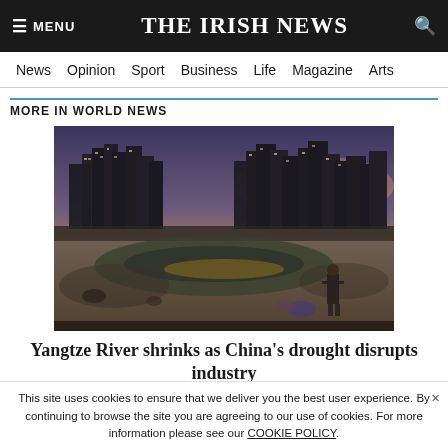≡ MENU   THE IRISH NEWS   🔍
News  Opinion  Sport  Business  Life  Magazine  Arts
MORE IN WORLD NEWS
[Figure (photo): A person standing at the edge of the Yangtze River at dusk, with exposed sandy riverbed, shallow water reflecting golden light, and a city skyline of tall apartment buildings in the background under a dusky purple-orange sky.]
Yangtze River shrinks as China's drought disrupts industry
This site uses cookies to ensure that we deliver you the best user experience. By continuing to browse the site you are agreeing to our use of cookies. For more information please see our COOKIE POLICY.